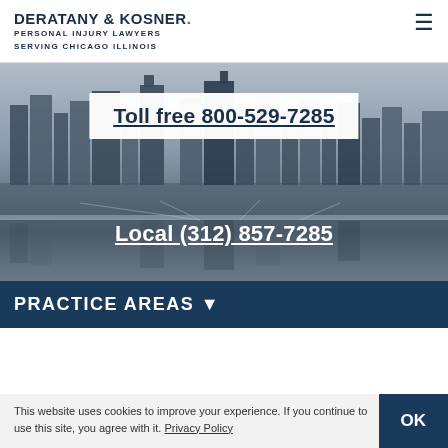DERATANY & KOSNER. PERSONAL INJURY LAWYERS SERVING CHICAGO ILLINOIS
[Figure (photo): Black and white photograph of Chicago city skyline reflecting on a river or lake, with a bridge in the foreground]
Toll free 800-529-7285
Local (312) 857-7285
PRACTICE AREAS ▼
Home > Blog >
This website uses cookies to improve your experience. If you continue to use this site, you agree with it. Privacy Policy